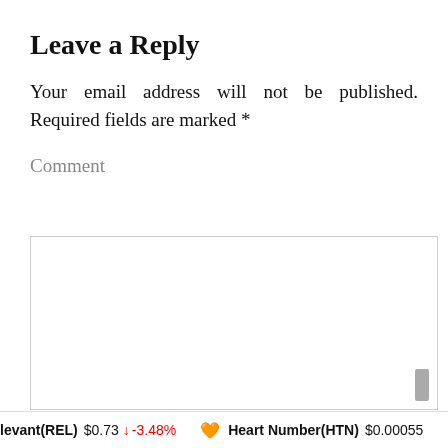Leave a Reply
Your email address will not be published. Required fields are marked *
Comment
[Figure (screenshot): Empty comment text area input box with a scrollbar thumb visible at bottom right]
levant(REL) $0.73 ↓ -3.48% 🧡 Heart Number(HTN) $0.00055…